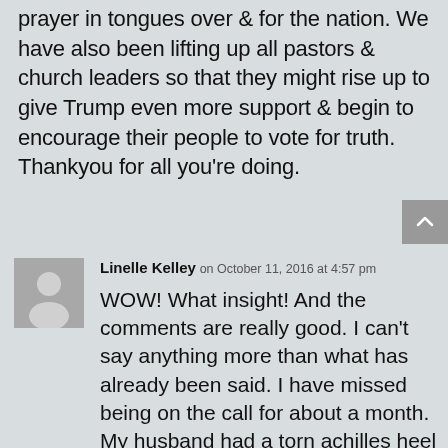prayer in tongues over & for the nation. We have also been lifting up all pastors & church leaders so that they might rise up to give Trump even more support & begin to encourage their people to vote for truth. Thankyou for all you're doing.
Linelle Kelley on October 11, 2016 at 4:57 pm
WOW! What insight! And the comments are really good. I can't say anything more than what has already been said. I have missed being on the call for about a month. My husband had a torn achilles heel and could not